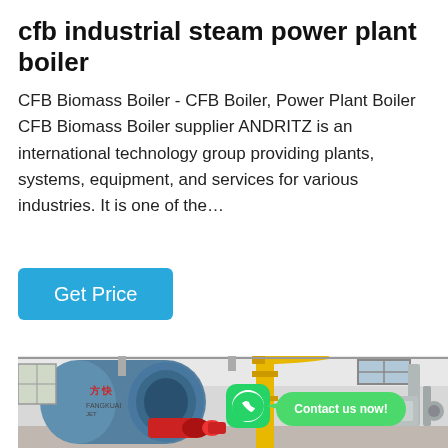cfb industrial steam power plant boiler
CFB Biomass Boiler - CFB Boiler, Power Plant Boiler CFB Biomass Boiler supplier ANDRITZ is an international technology group providing plants, systems, equipment, and services for various industries. It is one of the…
Get Price
[Figure (photo): Industrial steam boiler in a factory setting — a large blue cylindrical boiler with Chinese text markings, red burner assembly at the front, yellow vertical pipe in the background, and a WhatsApp contact overlay with 'Contact us now!' speech bubble.]